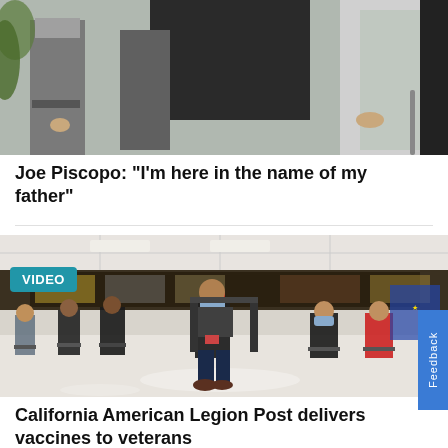[Figure (photo): Photo of people standing, partially cropped at top, showing torsos and a cane visible on the right.]
Joe Piscopo: "I'm here in the name of my father"
[Figure (photo): Indoor photo of people socially distanced sitting on chairs in a large hall with a VIDEO badge overlay. Appears to be a COVID-19 vaccine site at a California American Legion Post.]
California American Legion Post delivers vaccines to veterans